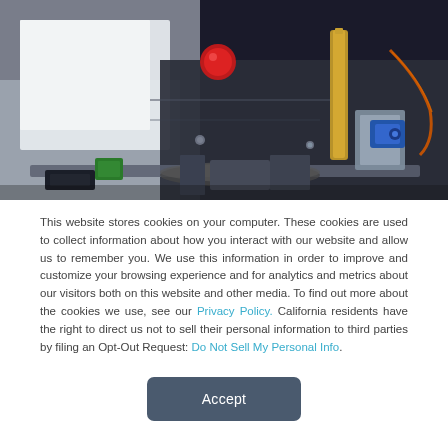[Figure (photo): Close-up photo of engineering/robotics machinery with metallic components, a brass-colored cylindrical part, blue servo motor, orange wiring, green components, and dark mechanical parts on a blurred background.]
This website stores cookies on your computer. These cookies are used to collect information about how you interact with our website and allow us to remember you. We use this information in order to improve and customize your browsing experience and for analytics and metrics about our visitors both on this website and other media. To find out more about the cookies we use, see our Privacy Policy. California residents have the right to direct us not to sell their personal information to third parties by filing an Opt-Out Request: Do Not Sell My Personal Info.